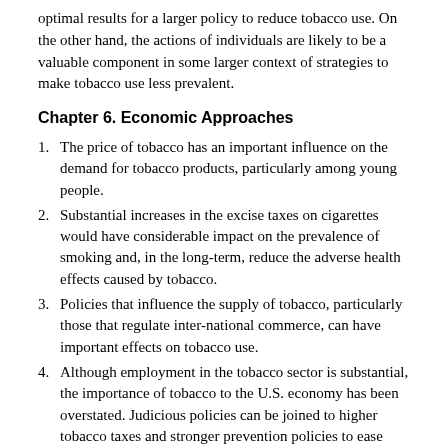optimal results for a larger policy to reduce tobacco use. On the other hand, the actions of individuals are likely to be a valuable component in some larger context of strategies to make tobacco use less prevalent.
Chapter 6. Economic Approaches
The price of tobacco has an important influence on the demand for tobacco products, particularly among young people.
Substantial increases in the excise taxes on cigarettes would have considerable impact on the prevalence of smoking and, in the long-term, reduce the adverse health effects caused by tobacco.
Policies that influence the supply of tobacco, particularly those that regulate inter-national commerce, can have important effects on tobacco use.
Although employment in the tobacco sector is substantial, the importance of tobacco to the U.S. economy has been overstated. Judicious policies can be joined to higher tobacco taxes and stronger prevention policies to ease economic diversification in tobacco-producing areas.
Chapter 7. Comprehensive Programs